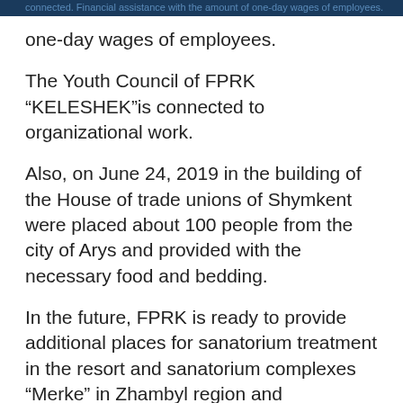connected. Financial assistance with the amount of one-day wages of employees.
one-day wages of employees.
The Youth Council of FPRK “KELESHEK”is connected to organizational work.
Also, on June 24, 2019 in the building of the House of trade unions of Shymkent were placed about 100 people from the city of Arys and provided with the necessary food and bedding.
In the future, FPRK is ready to provide additional places for sanatorium treatment in the resort and sanatorium complexes “Merke” in Zhambyl region and “shchuchinsky” in Akmola region.